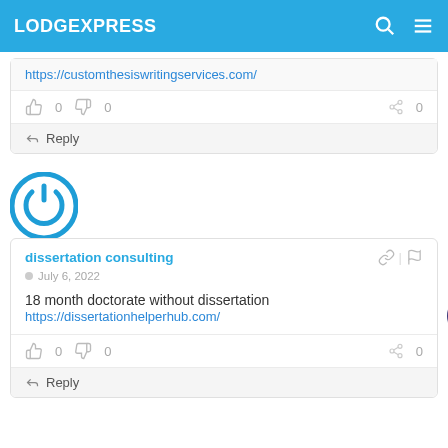LODGEXPRESS
https://customthesiswritingservices.com/
0  0  0
Reply
[Figure (logo): Blue circular power/user avatar icon]
dissertation consulting
July 6, 2022
18 month doctorate without dissertation
https://dissertationhelperhub.com/
0  0  0
Reply